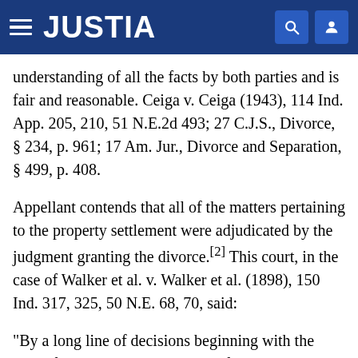JUSTIA
understanding of all the facts by both parties and is fair and reasonable. Ceiga v. Ceiga (1943), 114 Ind. App. 205, 210, 51 N.E.2d 493; 27 C.J.S., Divorce, § 234, p. 961; 17 Am. Jur., Divorce and Separation, § 499, p. 408.
Appellant contends that all of the matters pertaining to the property settlement were adjudicated by the judgment granting the divorce.[2] This court, in the case of Walker et al. v. Walker et al. (1898), 150 Ind. 317, 325, 50 N.E. 68, 70, said:
"By a long line of decisions beginning with the case of Fischli v. Fischli, 1 Blackf. 360, the doctrine has been generally affirmed and settled in this jurisdiction that a decree of divorce by a court having jurisdiction of the subject-matter and the parties, is deemed and held to be an adjudication between the divorced parties of all property rights or questions growing out of or